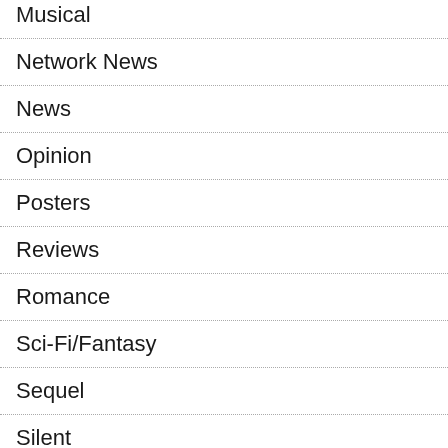Musical
Network News
News
Opinion
Posters
Reviews
Romance
Sci-Fi/Fantasy
Sequel
Silent
Special Filmsy News
Sports